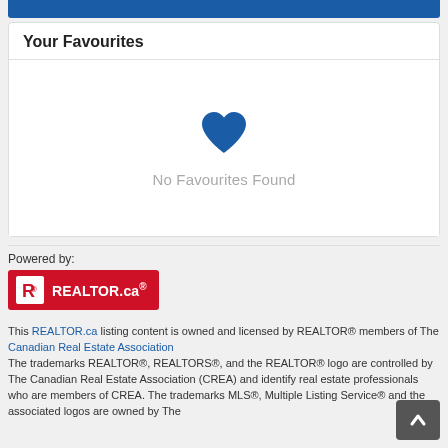Your Favourites
[Figure (illustration): Blue heart icon with 'No Favourites Found' text below]
Powered by:
[Figure (logo): REALTOR.ca logo — red background with white R block and REALTOR.ca text]
This REALTOR.ca listing content is owned and licensed by REALTOR® members of The Canadian Real Estate Association
The trademarks REALTOR®, REALTORS®, and the REALTOR® logo are controlled by The Canadian Real Estate Association (CREA) and identify real estate professionals who are members of CREA. The trademarks MLS®, Multiple Listing Service® and the associated logos are owned by The